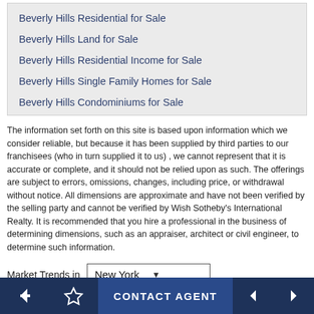Beverly Hills Residential for Sale
Beverly Hills Land for Sale
Beverly Hills Residential Income for Sale
Beverly Hills Single Family Homes for Sale
Beverly Hills Condominiums for Sale
The information set forth on this site is based upon information which we consider reliable, but because it has been supplied by third parties to our franchisees (who in turn supplied it to us) , we cannot represent that it is accurate or complete, and it should not be relied upon as such. The offerings are subject to errors, omissions, changes, including price, or withdrawal without notice. All dimensions are approximate and have not been verified by the selling party and cannot be verified by Wish Sotheby’s International Realty. It is recommended that you hire a professional in the business of determining dimensions, such as an appraiser, architect or civil engineer, to determine such information.
Market Trends in  New York
Click on graphs & charts if you want to view more listings in New York